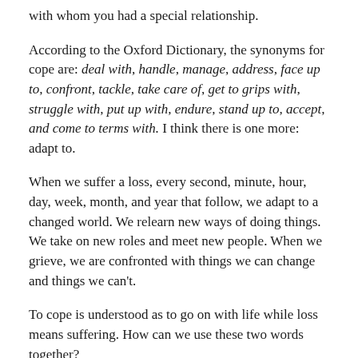with whom you had a special relationship.
According to the Oxford Dictionary, the synonyms for cope are: deal with, handle, manage, address, face up to, confront, tackle, take care of, get to grips with, struggle with, put up with, endure, stand up to, accept, and come to terms with. I think there is one more: adapt to.
When we suffer a loss, every second, minute, hour, day, week, month, and year that follow, we adapt to a changed world. We relearn new ways of doing things. We take on new roles and meet new people. When we grieve, we are confronted with things we can change and things we can't.
To cope is understood as to go on with life while loss means suffering. How can we use these two words together?